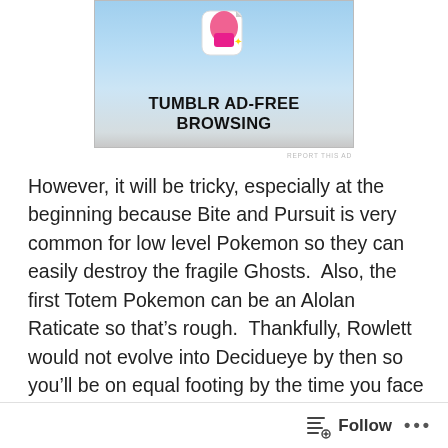[Figure (illustration): Tumblr Ad-Free Browsing advertisement banner with a pink and white icon at top, light blue sky background, and bold text reading TUMBLR AD-FREE BROWSING]
REPORT THIS AD
However, it will be tricky, especially at the beginning because Bite and Pursuit is very common for low level Pokemon so they can easily destroy the fragile Ghosts.  Also, the first Totem Pokemon can be an Alolan Raticate so that's rough.  Thankfully, Rowlett would not evolve into Decidueye by then so you'll be on equal footing by the time you face off against them.  There's also a huge abundance of Dark Pokemon on your first island so you'll need to tread carefully as you gather your team.
Follow ...